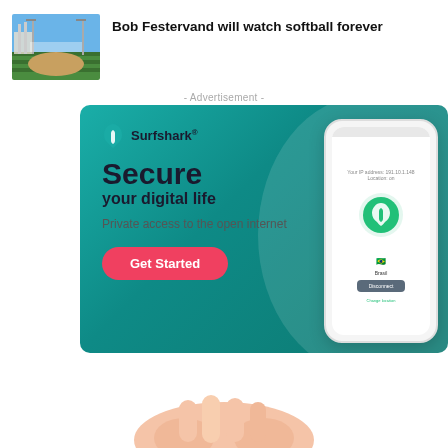[Figure (photo): Softball field photo thumbnail showing green field and blue sky with lights]
Bob Festervand will watch softball forever
- Advertisement -
[Figure (infographic): Surfshark VPN advertisement banner with teal background. Shows Surfshark logo, headline 'Secure your digital life', body text 'Private access to the open internet', a 'Get Started' button, and a phone mockup showing the Surfshark VPN app connected to Brazil.]
[Figure (photo): Partial image at bottom of page, appears to show hands or skin tones]